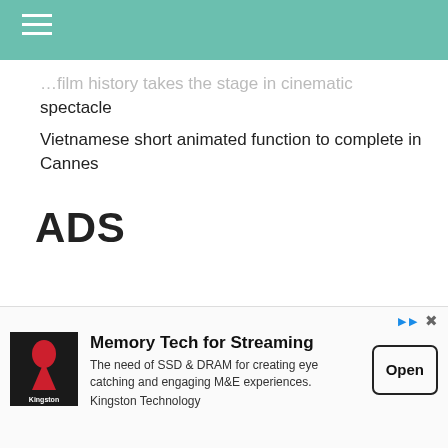…film history takes the stage in cinematic spectacle
Vietnamese short animated function to complete in Cannes
ADS
Categories
[Figure (screenshot): Advertisement banner for Kingston Technology: Memory Tech for Streaming. Includes logo, headline, body text, and Open button.]